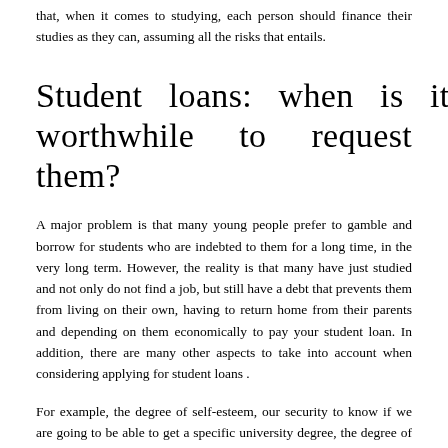that, when it comes to studying, each person should finance their studies as they can, assuming all the risks that entails.
Student loans: when is it worthwhile to request them?
A major problem is that many young people prefer to gamble and borrow for students who are indebted to them for a long time, in the very long term. However, the reality is that many have just studied and not only do not find a job, but still have a debt that prevents them from living on their own, having to return home from their parents and depending on them economically to pay your student loan. In addition, there are many other aspects to take into account when considering applying for student loans .
For example, the degree of self-esteem, our security to know if we are going to be able to get a specific university degree, the degree of work, discipline and perseverance of each one … All this is extremely important. Can you imagine becoming indebted and not even be able to